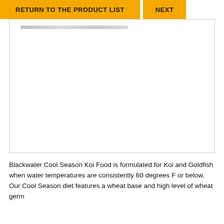RETURN TO THE PRODUCT LIST   NEXT
[Figure (photo): Scanned document page with a redacted/blurred header line, mostly blank white content area]
Blackwater Cool Season Koi Food is formulated for Koi and Goldfish when water temperatures are consistently 60 degrees F or below. Our Cool Season diet features a wheat base and high level of wheat germ